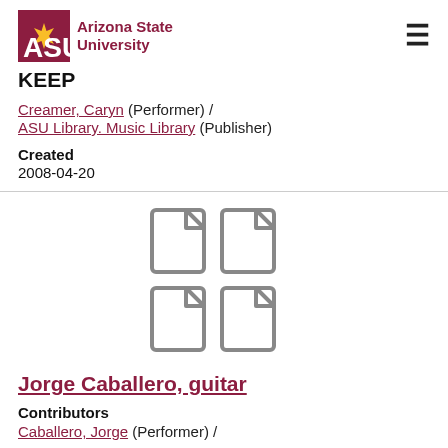ASU Arizona State University | KEEP
Creamer, Caryn (Performer) /
ASU Library. Music Library (Publisher)
Created
2008-04-20
[Figure (illustration): Four document/file icons arranged in a 2x2 grid]
Jorge Caballero, guitar
Contributors
Caballero, Jorge (Performer) /